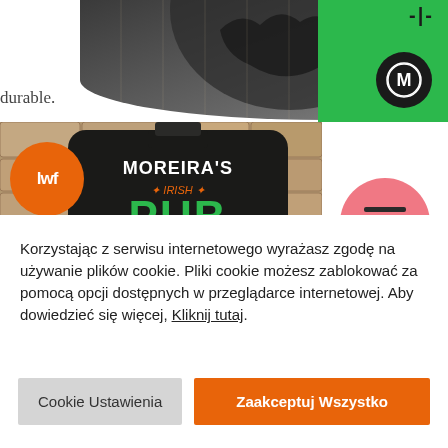[Figure (screenshot): Top portion of a website showing a dark circular logo with hands/beer image, partial text 'durable.', a green block with a circular M icon, and a hamburger menu circle in pink/salmon color]
[Figure (photo): Moreira's Irish Pub sign — dark wooden sign with green PUB text, shamrock, beer glass, 'Tall Glasses Tall Stories', 'Est. 2015', with orange LWH circular logo overlay]
Korzystając z serwisu internetowego wyrażasz zgodę na używanie plików cookie. Pliki cookie możesz zablokować za pomocą opcji dostępnych w przeglądarce internetowej. Aby dowiedzieć się więcej, Kliknij tutaj.
Cookie Ustawienia
Zaakceptuj Wszystko